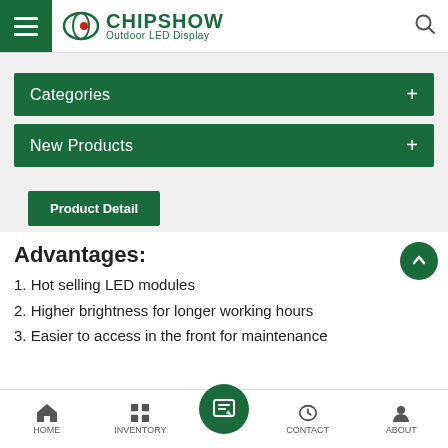CHIPSHOW Outdoor LED Display
Categories
New Products
Product Detail
Advantages:
1. Hot selling LED modules
2. Higher brightness for longer working hours
3. Easier to access in the front for maintenance
HOME  INVENTORY  CONTACT  ABOUT